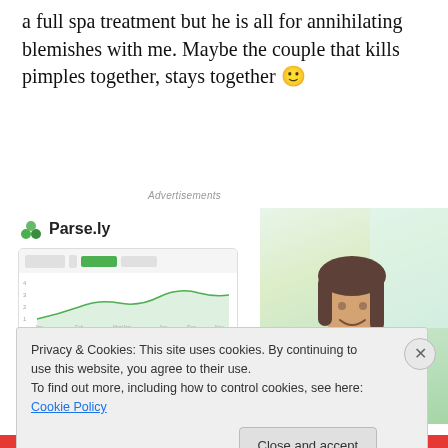a full spa treatment but he is all for annihilating blemishes with me. Maybe the couple that kills pimples together, stays together 🙂
[Figure (advertisement): Parse.ly Content Analytics Made Easy advertisement with logo, line chart interface screenshot, and smiling woman in green sweater]
Privacy & Cookies: This site uses cookies. By continuing to use this website, you agree to their use.
To find out more, including how to control cookies, see here: Cookie Policy
Close and accept